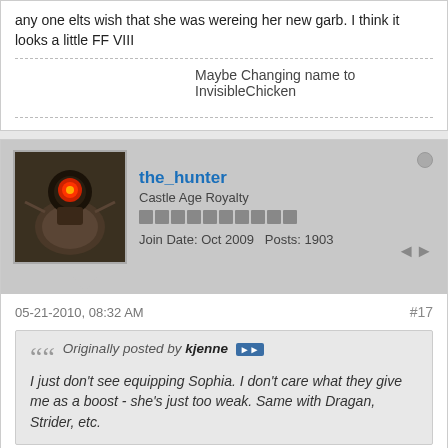any one elts wish that she was wereing her new garb. I think it looks a little FF VIII
Maybe Changing name to InvisibleChicken
the_hunter
Castle Age Royalty
Join Date: Oct 2009   Posts: 1903
05-21-2010, 08:32 AM
#17
Originally posted by kjenne
I just don't see equipping Sophia. I don't care what they give me as a boost - she's just too weak. Same with Dragan, Strider, etc.
it's a nice cosmetics for the game. a little here n there is what makes CA rich